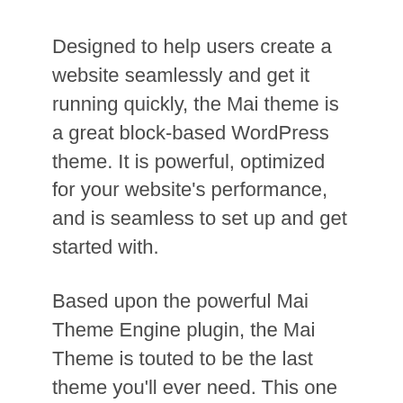Designed to help users create a website seamlessly and get it running quickly, the Mai theme is a great block-based WordPress theme. It is powerful, optimized for your website’s performance, and is seamless to set up and get started with.
Based upon the powerful Mai Theme Engine plugin, the Mai Theme is touted to be the last theme you'll ever need. This one is a turbo-charged theme for your WordPress site as it is composed of clean code and runs an efficient design. Hence, the website is fast with turbo-charged load times.
Mai theme comes with a lot of built-in customization options. Hence, the website admin can craft a stronger, tailored website. The theme is flexible…